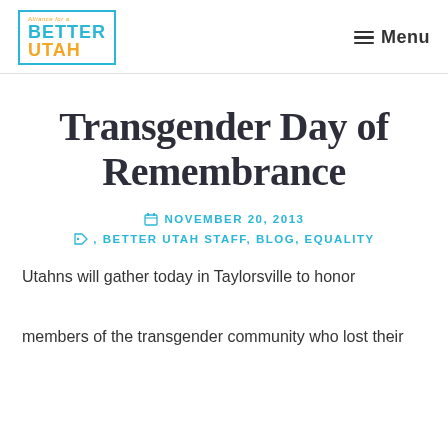Alliance for a Better Utah — Menu
Transgender Day of Remembrance
NOVEMBER 20, 2013
, BETTER UTAH STAFF, BLOG, EQUALITY
Utahns will gather today in Taylorsville to honor members of the transgender community who lost their